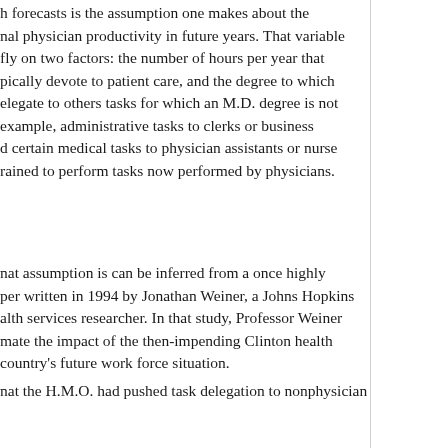h forecasts is the assumption one makes about the nal physician productivity in future years. That variable fly on two factors: the number of hours per year that pically devote to patient care, and the degree to which elegate to others tasks for which an M.D. degree is not example, administrative tasks to clerks or business d certain medical tasks to physician assistants or nurse rained to perform tasks now performed by physicians.
nat assumption is can be inferred from a once highly per written in 1994 by Jonathan Weiner, a Johns Hopkins alth services researcher. In that study, Professor Weiner mate the impact of the then-impending Clinton health country's future work force situation.
iner noted that, in 1992, well-managed, clinically aff- or group-model health maintenance organizations npensated by prepaid capitation (an annual lump-sum fee required an average of only about 120 or so physicians enrollees, while the overall ratio of patient-care 100,000 population in the United States was as high as 20 in 2011; see Table 2 in this publication).
nat the H.M.O. had pushed task delegation to nonphysician